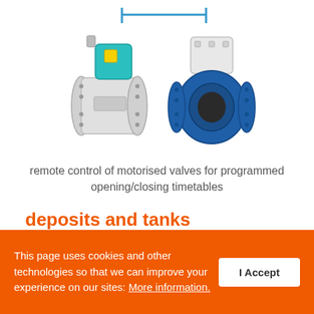[Figure (photo): Two industrial devices connected by a blue line bracket above: a flow meter/electromagnetic meter on the left (white/grey body, teal sensor head, yellow component) and a motorised butterfly valve on the right (blue body with white actuator on top).]
remote control of motorised valves for programmed opening/closing timetables
deposits and tanks
Monitor and supervise your water tanks with our
This page uses cookies and other technologies so that we can improve your experience on our sites: More information.
I Accept